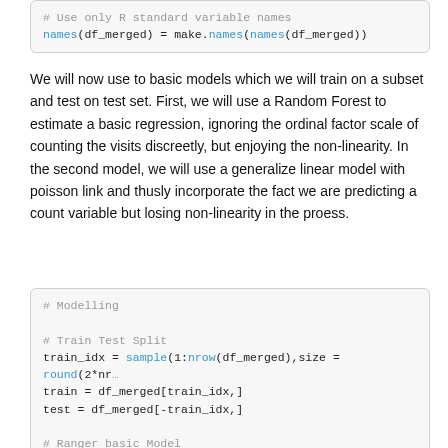[Figure (screenshot): Code block showing: # Use only R standard variable names
names(df_merged) = make.names(names(df_merged))]
We will now use to basic models which we will train on a subset and test on test set. First, we will use a Random Forest to estimate a basic regression, ignoring the ordinal factor scale of counting the visits discreetly, but enjoying the non-linearity. In the second model, we will use a generalize linear model with poisson link and thusly incorporate the fact we are predicting a count variable but losing non-linearity in the proess.
[Figure (screenshot): Code block showing modelling code: # Modelling
# Train Test Split
train_idx = sample(1:nrow(df_merged),size = round(2*nrow...))
train = df_merged[train_idx,]
test = df_merged[-train_idx,]
# Ranger basic Model
mod_rf = ranger(formula = hits ~ Word.Count
                              + Unique.Inlinks
                              + Unique.Outlinks
                              + Inlinks
                              + Outlinks
                              + Text.Ratio
                              + Response.Time
                              + ...]